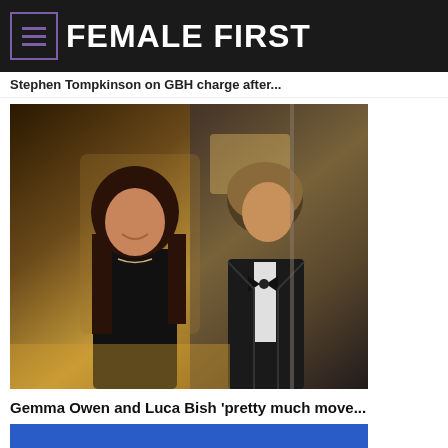FEMALE FIRST
Stephen Tompkinson on GBH charge after...
[Figure (photo): A woman with long dark hair wearing a black dress and a man in a black suit with bow tie, both smiling and looking at each other at what appears to be an outdoor event.]
Gemma Owen and Luca Bish 'pretty much move...
[Figure (photo): Partial view of an image with blue background, appears to be the beginning of another article card.]